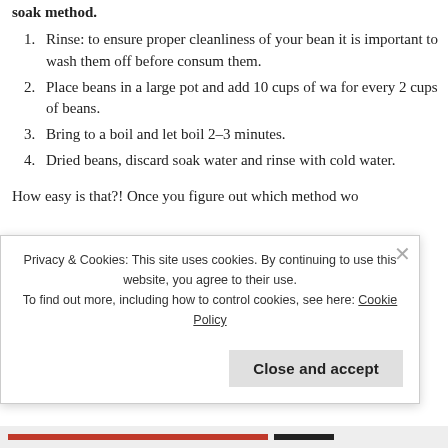soak method.
1. Rinse: to ensure proper cleanliness of your beans, it is important to wash them off before consuming them.
2. Place beans in a large pot and add 10 cups of water for every 2 cups of beans.
3. Bring to a boil and let boil 2–3 minutes.
4. Dried beans, discard soak water and rinse with cold water.
How easy is that?! Once you figure out which method wo...
Privacy & Cookies: This site uses cookies. By continuing to use this website, you agree to their use. To find out more, including how to control cookies, see here: Cookie Policy